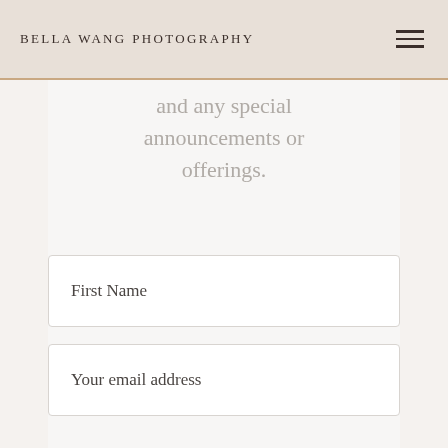BELLA WANG PHOTOGRAPHY
and any special announcements or offerings.
First Name
Your email address
Newsletter Type: Portrait or Wedding